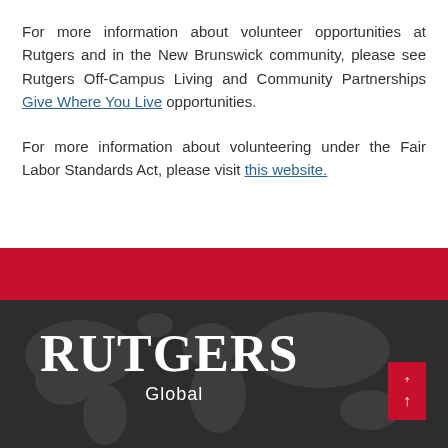For more information about volunteer opportunities at Rutgers and in the New Brunswick community, please see Rutgers Off-Campus Living and Community Partnerships Give Where You Live opportunities.
For more information about volunteering under the Fair Labor Standards Act, please visit this website.
[Figure (logo): Rutgers Global logo on dark background with world map texture. White serif wordmark 'RUTGERS' with 'Global' in smaller text below. Red back-to-top arrow button in bottom right corner.]